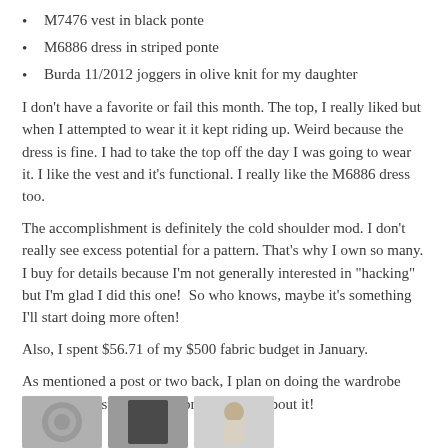M7476 vest in black ponte
M6886 dress in striped ponte
Burda 11/2012 joggers in olive knit for my daughter
I don't have a favorite or fail this month. The top, I really liked but when I attempted to wear it it kept riding up. Weird because the dress is fine. I had to take the top off the day I was going to wear it. I like the vest and it's functional. I really like the M6886 dress too.
The accomplishment is definitely the cold shoulder mod. I don't really see excess potential for a pattern. That's why I own so many. I buy for details because I'm not generally interested in "hacking" but I'm glad I did this one!  So who knows, maybe it's something I'll start doing more often!
Also, I spent $56.71 of my $500 fabric budget in January.
As mentioned a post or two back, I plan on doing the wardrobe sudoku contest on PR. I'm pretty jazzed about it!
[Figure (photo): Three small photos at the bottom of the page showing garments/fabric]